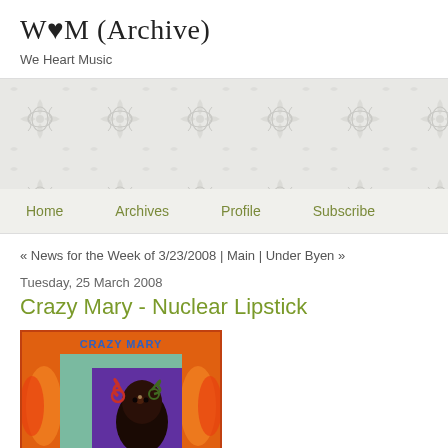W♥M (Archive)
We Heart Music
[Figure (illustration): Decorative floral/damask pattern banner in light gray]
Home | Archives | Profile | Subscribe
« News for the Week of 3/23/2008 | Main | Under Byen »
Tuesday, 25 March 2008
Crazy Mary - Nuclear Lipstick
[Figure (photo): Album cover for Crazy Mary - Nuclear Lipstick, featuring a stylized illustration of a dark-skinned figure with swirled hair against a teal/purple background with orange flame-like border, text 'CRAZY MARY' in blue letters at top]